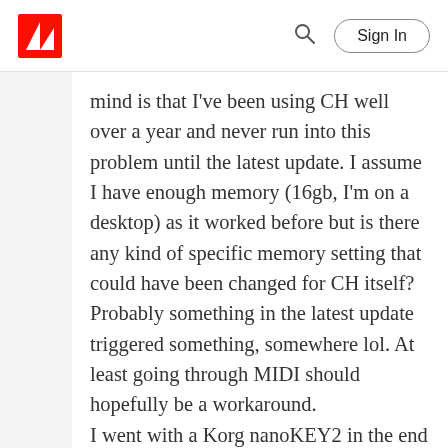Adobe | Sign In
mind is that I've been using CH well over a year and never run into this problem until the latest update. I assume I have enough memory (16gb, I'm on a desktop) as it worked before but is there any kind of specific memory setting that could have been changed for CH itself? Probably something in the latest update triggered something, somewhere lol. At least going through MIDI should hopefully be a workaround.
I went with a Korg nanoKEY2 in the end as they are relatively cheap and